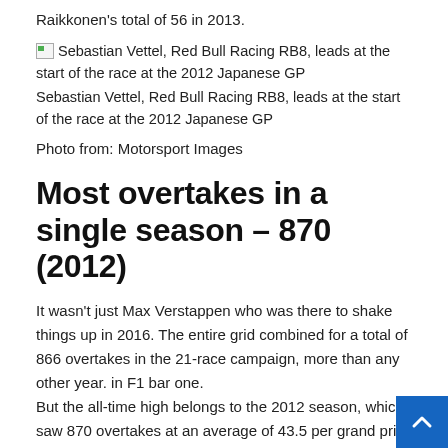Raikkonen's total of 56 in 2013.
[Figure (photo): Broken/missing image icon for Sebastian Vettel, Red Bull Racing RB8, leads at the start of the race at the 2012 Japanese GP]
Sebastian Vettel, Red Bull Racing RB8, leads at the start of the race at the 2012 Japanese GP
Photo from: Motorsport Images
Most overtakes in a single season – 870 (2012)
It wasn't just Max Verstappen who was there to shake things up in 2016. The entire grid combined for a total of 866 overtakes in the 21-race campaign, more than any other year. in F1 bar one.
But the all-time high belongs to the 2012 season, which saw 870 overtakes at an average of 43.5 per grand prix over the race calendar. This is slightly higher than the 2011 average of